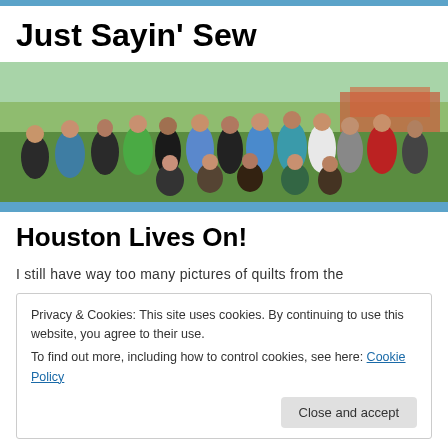Just Sayin' Sew
[Figure (photo): Group photo of approximately 20 women standing outdoors in a green field with wildflowers, serving as a banner image for the blog.]
Houston Lives On!
I still have way too many pictures of quilts from the
Privacy & Cookies: This site uses cookies. By continuing to use this website, you agree to their use.
To find out more, including how to control cookies, see here: Cookie Policy
Close and accept